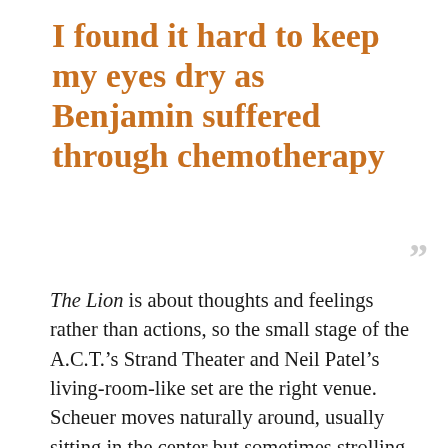I found it hard to keep my eyes dry as Benjamin suffered through chemotherapy
The Lion is about thoughts and feelings rather than actions, so the small stage of the A.C.T.'s Strand Theater and Neil Patel's living-room-like set are the right venue. Scheuer moves naturally around, usually sitting in the center but sometimes strolling to another mic or fetching another guitar. The lighting (by Ben Stanton) shifts between the narrow focus of a solo concert and the broad, warm beams of a home.